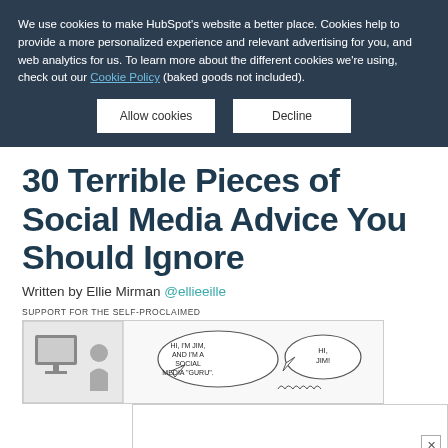We use cookies to make HubSpot's website a better place. Cookies help to provide a more personalized experience and relevant advertising for you, and web analytics for us. To learn more about the different cookies we're using, check out our Cookie Policy (baked goods not included).
[Figure (other): Two buttons: 'Allow cookies' and 'Decline' on dark background cookie consent banner]
30 Terrible Pieces of Social Media Advice You Should Ignore
Written by Ellie Mirman @ellieeille
[Figure (illustration): Comic strip labeled 'SUPPORT FOR THE SELF-PROCLAIMED' showing a character saying 'HI, I'M JIM, AND I'M A SOCIAL MEDIA "GURU".' with another character responding 'HI, JIM!']